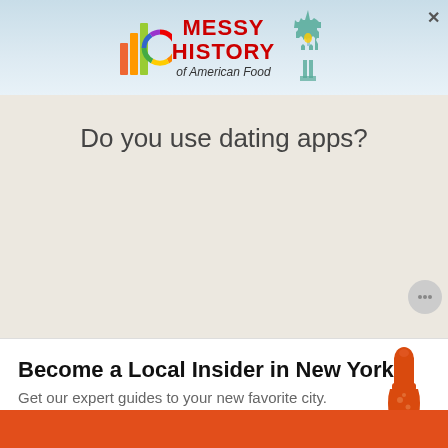[Figure (screenshot): Advertisement banner for 'Messy History of American Food' with colorful logo, Statue of Liberty graphic, on a light blue background]
Do you use dating apps?
[Figure (illustration): Small grey chat/speech bubble icon with three dots]
Become a Local Insider in New York
Get our expert guides to your new favorite city.
[Figure (illustration): Orange foam finger/pointing hand icon]
Your Email Address